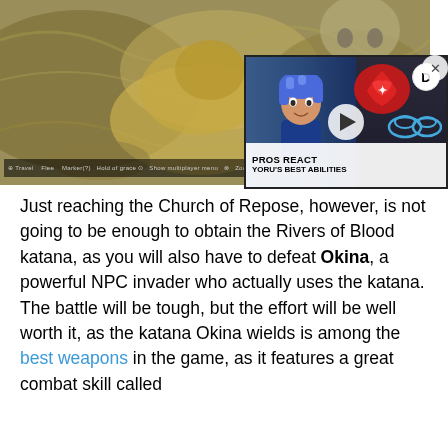[Figure (screenshot): Screenshot of an Elden Ring game map showing a rocky terrain with a golden/yellow colored large creature or boss, overlaid with a video thumbnail showing an animated character with blue hair labeled 'PROS REACT YORU'S BEST ABILITIES' with a play button and the Destructoid logo]
Just reaching the Church of Repose, however, is not going to be enough to obtain the Rivers of Blood katana, as you will also have to defeat Okina, a powerful NPC invader who actually uses the katana. The battle will be tough, but the effort will be well worth it, as the katana Okina wields is among the best weapons in the game, as it features a great combat skill called